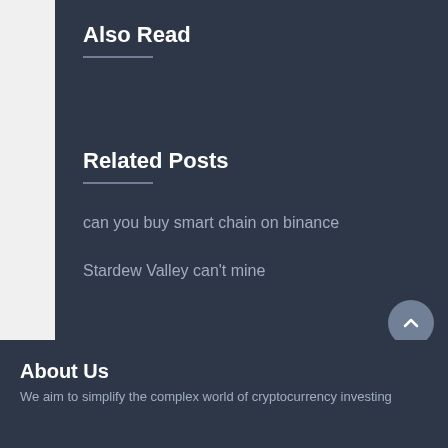Also Read
Related Posts
can you buy smart chain on binance
Stardew Valley can't mine
About Us
We aim to simplify the complex world of cryptocurrency investing